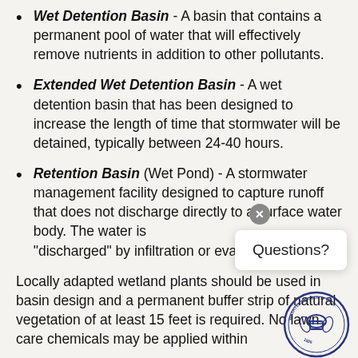Wet Detention Basin - A basin that contains a permanent pool of water that will effectively remove nutrients in addition to other pollutants.
Extended Wet Detention Basin - A wet detention basin that has been designed to increase the length of time that stormwater will be detained, typically between 24-40 hours.
Retention Basin (Wet Pond) - A stormwater management facility designed to capture runoff that does not discharge directly to a surface water body. The water is "discharged" by infiltration or evapo...
Locally adapted wetland plants should be used in basin design and a permanent buffer strip of natural vegetation of at least 15 feet is required. No lawn care chemicals may be applied within